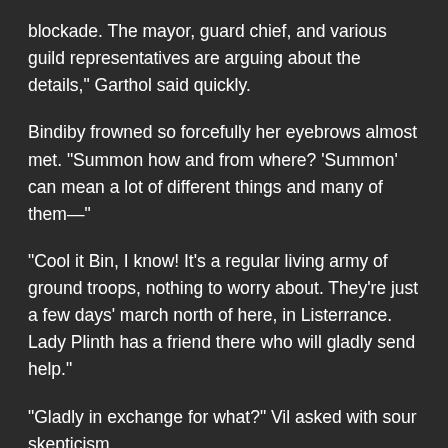blockade.  The mayor, guard chief, and various guild representatives are arguing about the details," Garthol said quickly.
Bindiby frowned so forcefully her eyebrows almost met. "Summon how and from where?  'Summon' can mean a lot of different things and many of them—"
"Cool it Bin, I know!  It's a regular living army of ground troops, nothing to worry about.  They're just a few days' march north of here, in Listerrance.  Lady Plinth has a friend there who will gladly send help."
"Gladly in exchange for what?" Vil asked with sour skepticism.
"That's what about half the argument is about."
Bindiby asked the obvious question.  "And the other half?  Is it